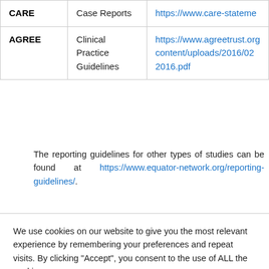|  |  |  |
| --- | --- | --- |
| CARE | Case Reports | https://www.care-stateme... |
| AGREE | Clinical Practice Guidelines | https://www.agreetrust.org/content/uploads/2016/02/2016.pdf |
The reporting guidelines for other types of studies can be found at https://www.equator-network.org/reporting-guidelines/.
We use cookies on our website to give you the most relevant experience by remembering your preferences and repeat visits. By clicking "Accept", you consent to the use of ALL the cookies.
Do not sell my personal information.